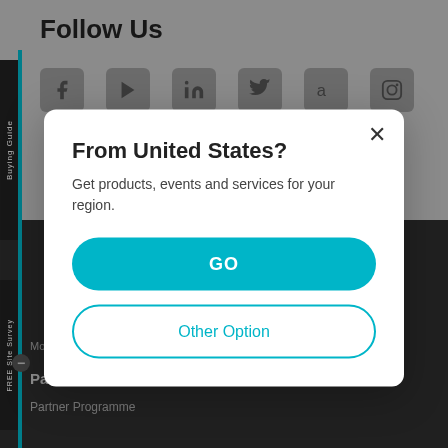Follow Us
[Figure (screenshot): Social media icons row: Facebook, YouTube, LinkedIn, Twitter, Amazon, Instagram]
[Figure (screenshot): Modal dialog over a darkened website background. Title: 'From United States?', body text: 'Get products, events and services for your region.', two buttons: 'GO' (teal filled) and 'Other Option' (teal outline), close X button top right.]
Modern Slavery Act
Partners
Promotions
Partner Programme